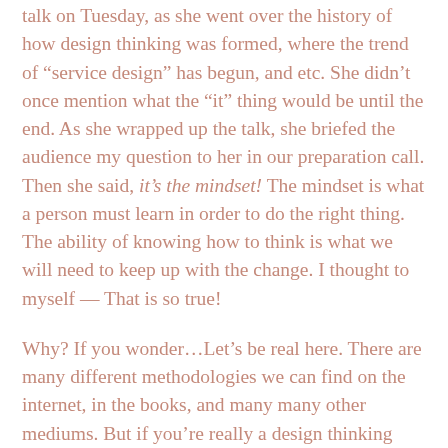talk on Tuesday, as she went over the history of how design thinking was formed, where the trend of “service design” has begun, and etc. She didn’t once mention what the “it” thing would be until the end. As she wrapped up the talk, she briefed the audience my question to her in our preparation call. Then she said, it’s the mindset! The mindset is what a person must learn in order to do the right thing. The ability of knowing how to think is what we will need to keep up with the change. I thought to myself — That is so true!
Why? If you wonder…Let’s be real here. There are many different methodologies we can find on the internet, in the books, and many many other mediums. But if you’re really a design thinking practitioner, you know that all these methods, processes, steps are all the same difference. It